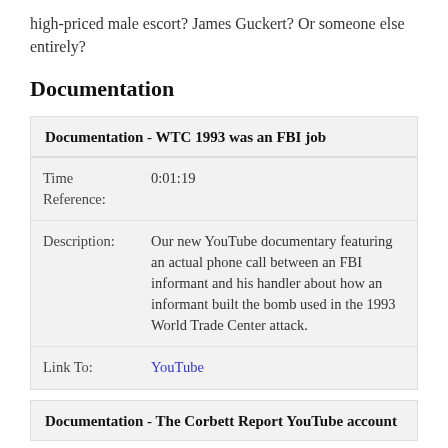high-priced male escort? James Guckert? Or someone else entirely?
Documentation
|  |  |
| --- | --- |
| Documentation - WTC 1993 was an FBI job |  |
| Time Reference: | 0:01:19 |
| Description: | Our new YouTube documentary featuring an actual phone call between an FBI informant and his handler about how an informant built the bomb used in the 1993 World Trade Center attack. |
| Link To: | YouTube |
|  |  |
| --- | --- |
| Documentation - The Corbett Report YouTube account |  |